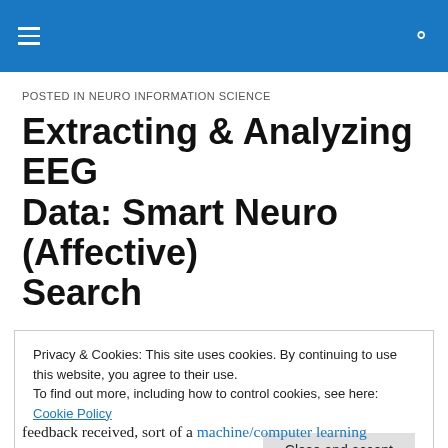NEURO INFORMATION SCIENCE (navigation header with hamburger menu and search icon)
POSTED IN NEURO INFORMATION SCIENCE
Extracting & Analyzing EEG Data: Smart Neuro (Affective) Search
In the last posts, I wrote a summary of my (in-progress) dissertation and my proposal to the industry in developing
Privacy & Cookies: This site uses cookies. By continuing to use this website, you agree to their use.
To find out more, including how to control cookies, see here: Cookie Policy
[Close and accept]
feedback received, sort of a machine/computer learning